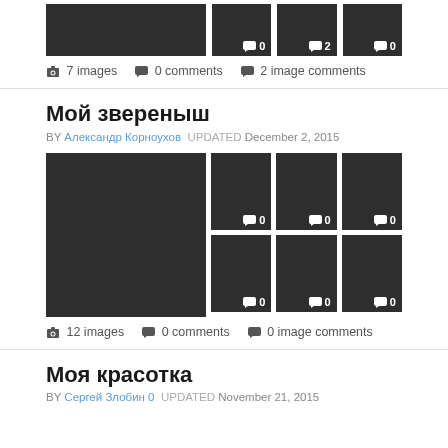[Figure (photo): Row of dark thumbnail images with comment badges showing 0, 2, 0]
📷 7 images   💬 0 comments   💬 2 image comments
Мой звереныш
BY Александр Корноухов  UPDATED December 2, 2015
[Figure (photo): Grid of dark thumbnail images — one large on left, six small on right in 2x3 arrangement, each with comment badge showing 0]
📷 12 images   💬 0 comments   💬 0 image comments
Моя красотка
BY Сергей Злобин 0  UPDATED November 21, 2015